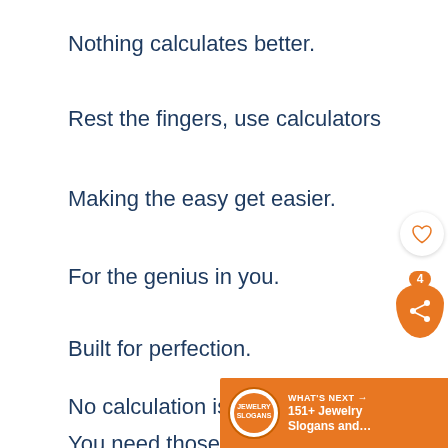Nothing calculates better.
Rest the fingers, use calculators
Making the easy get easier.
For the genius in you.
Built for perfection.
No calculation is big enough.
You need those extra digits to fit in just right.